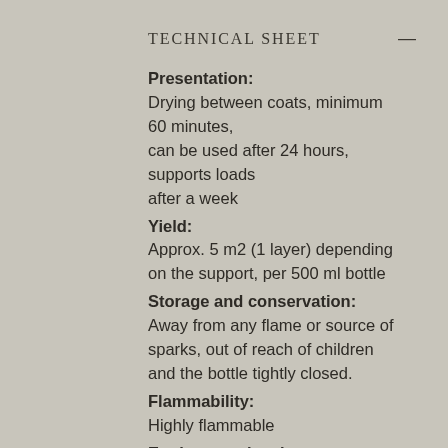Technical sheet
Presentation:
Drying between coats, minimum 60 minutes,
can be used after 24 hours,
supports loads
after a week
Yield:
Approx. 5 m2 (1 layer) depending on the support, per 500 ml bottle
Storage and conservation:
Away from any flame or source of sparks, out of reach of children and the bottle tightly closed.
Flammability:
Highly flammable
Equipment cleaning: